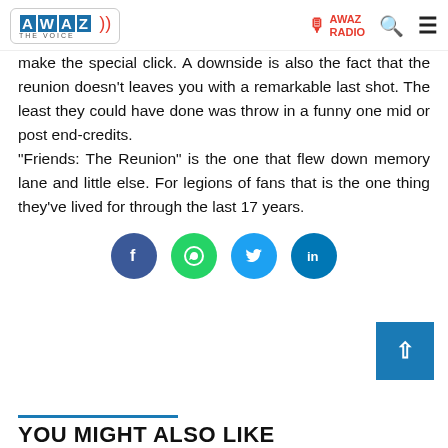AWAZ THE VOICE | AWAZ RADIO
make the special click. A downside is also the fact that the reunion doesn't leaves you with a remarkable last shot. The least they could have done was throw in a funny one mid or post end-credits.

"Friends: The Reunion" is the one that flew down memory lane and little else. For legions of fans that is the one thing they've lived for through the last 17 years.
[Figure (infographic): Social media sharing buttons: Facebook (blue circle), WhatsApp (green circle), Twitter (light blue circle), LinkedIn (blue circle)]
YOU MIGHT ALSO LIKE